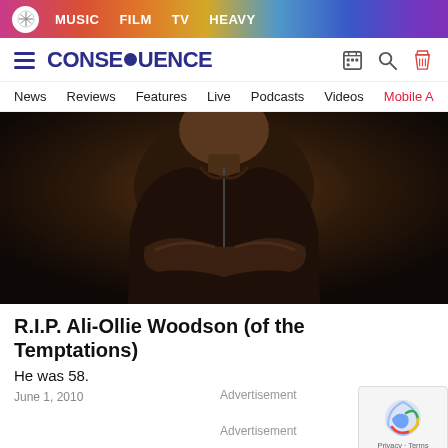MUSIC  FILM  TV  HEAVY
[Figure (logo): Consequence of Sound website header with hamburger menu, logo, and icons for shop, search, and deals]
News  Reviews  Features  Live  Podcasts  Videos  Mobile App
[Figure (photo): A man with crossed arms wearing a dark zip-up jacket, photographed against a dark background]
R.I.P. Ali-Ollie Woodson (of the Temptations)
He was 58.
June 1, 2010
Advertisement
Advertisement